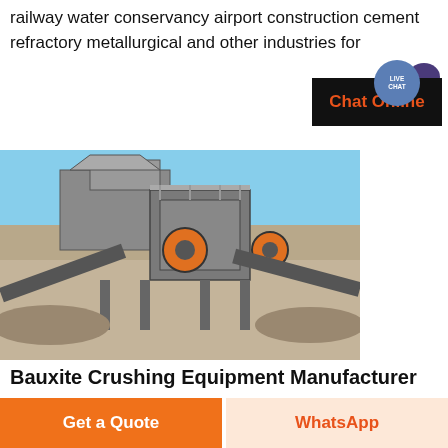railway water conservancy airport construction cement refractory metallurgical and other industries for
[Figure (screenshot): Live Chat widget with black box and orange 'Chat Online' text, with a teal speech bubble icon labeled LIVE CHAT]
[Figure (photo): Industrial crushing/screening machine equipment at a construction/mining site, outdoors with blue sky, gravel and soil surroundings]
Bauxite Crushing Equipment Manufacturer
Get a Quote
WhatsApp